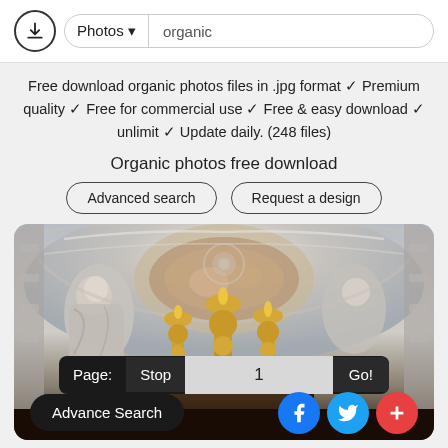[Figure (screenshot): Website screenshot showing a stock photo download site with search bar showing 'Photos' category and 'organic' query, description text, buttons, and a photo of an ornate church interior ceiling with golden candlesticks]
Free download organic photos files in .jpg format ✓ Premium quality ✓ Free for commercial use ✓ Free & easy download ✓ unlimit ✓ Update daily. (248 files)
Organic photos free download
Advanced search    Request a design
Page:  Stop  1  Go!
Advance Search